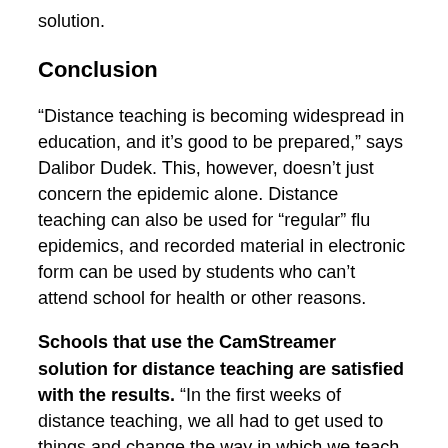solution.
Conclusion
“Distance teaching is becoming widespread in education, and it’s good to be prepared,” says Dalibor Dudek. This, however, doesn’t just concern the epidemic alone. Distance teaching can also be used for “regular” flu epidemics, and recorded material in electronic form can be used by students who can’t attend school for health or other reasons.
Schools that use the CamStreamer solution for distance teaching are satisfied with the results. “In the first weeks of distance teaching, we all had to get used to things and change the way in which we teach our students. No one had ever been in this situation before. Now I can say, however, that the CamStreamer system basically solved all of our